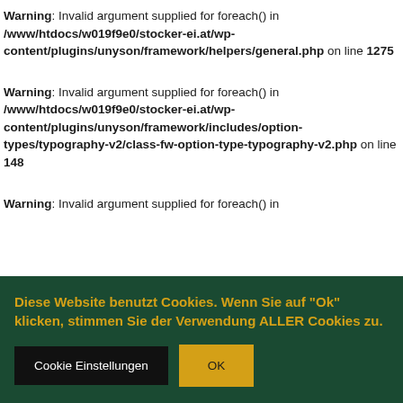Warning: Invalid argument supplied for foreach() in /www/htdocs/w019f9e0/stocker-ei.at/wp-content/plugins/unyson/framework/helpers/general.php on line 1275
Warning: Invalid argument supplied for foreach() in /www/htdocs/w019f9e0/stocker-ei.at/wp-content/plugins/unyson/framework/includes/option-types/typography-v2/class-fw-option-type-typography-v2.php on line 148
Warning: Invalid argument supplied for foreach() in
Diese Website benutzt Cookies. Wenn Sie auf "Ok" klicken, stimmen Sie der Verwendung ALLER Cookies zu.
Cookie Einstellungen
OK